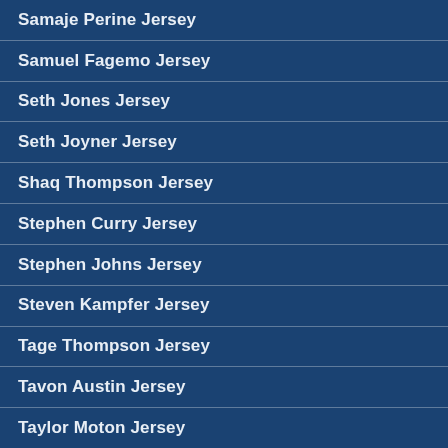Samaje Perine Jersey
Samuel Fagemo Jersey
Seth Jones Jersey
Seth Joyner Jersey
Shaq Thompson Jersey
Stephen Curry Jersey
Stephen Johns Jersey
Steven Kampfer Jersey
Tage Thompson Jersey
Tavon Austin Jersey
Taylor Moton Jersey